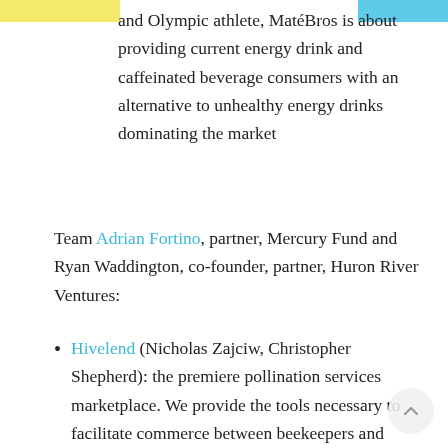and Olympic athlete, MatéBros is about providing current energy drink and caffeinated beverage consumers with an alternative to unhealthy energy drinks dominating the market
Team Adrian Fortino, partner, Mercury Fund and Ryan Waddington, co-founder, partner, Huron River Ventures:
Hivelend (Nicholas Zajciw, Christopher Shepherd): the premiere pollination services marketplace. We provide the tools necessary to facilitate commerce between beekeepers and farmers.